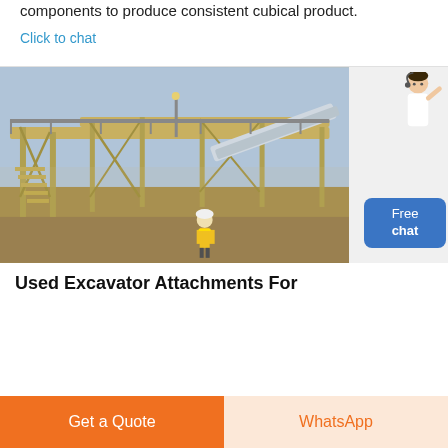components to produce consistent cubical product.
Click to chat
[Figure (photo): Large industrial quarry or mining plant with yellow steel structures, conveyors, staircases, and a worker in yellow high-visibility vest in foreground.]
Used Excavator Attachments For
Get a Quote
WhatsApp